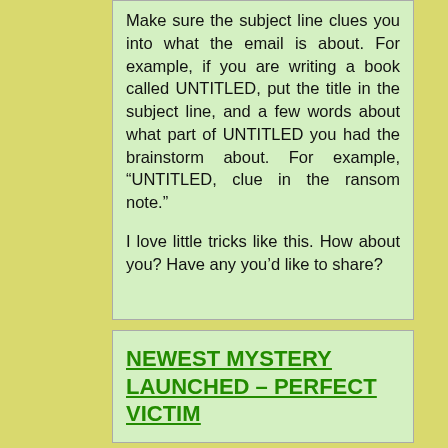Make sure the subject line clues you into what the email is about. For example, if you are writing a book called UNTITLED, put the title in the subject line, and a few words about what part of UNTITLED you had the brainstorm about. For example, “UNTITLED, clue in the ransom note.”

I love little tricks like this. How about you? Have any you’d like to share?
NEWEST MYSTERY LAUNCHED – PERFECT VICTIM